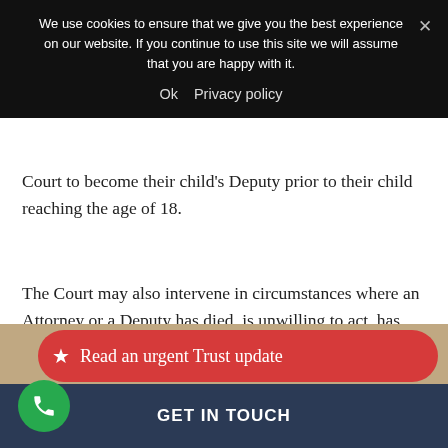We use cookies to ensure that we give you the best experience on our website. If you continue to use this site we will assume that you are happy with it.
Ok   Privacy policy
Court to become their child's Deputy prior to their child reaching the age of 18.
The Court may also intervene in circumstances where an Attorney or a Deputy has died, is unwilling to act, has not acted in the best interests of the vulnerable adult or is deemed unsuitable.
Read an urgent Trust update
GET IN TOUCH